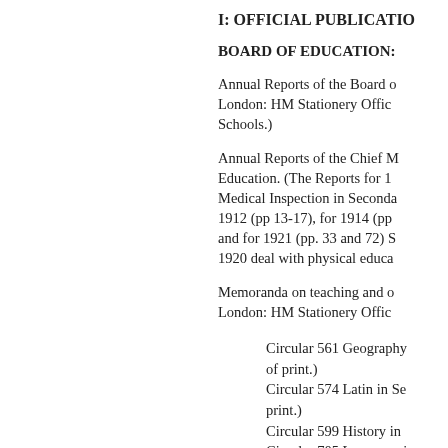I: OFFICIAL PUBLICATIO
BOARD OF EDUCATION:
Annual Reports of the Board o London: HM Stationery Offic Schools.)
Annual Reports of the Chief M Education. (The Reports for 1 Medical Inspection in Seconda 1912 (pp 13-17), for 1914 (pp and for 1921 (pp. 33 and 72) S 1920 deal with physical educa
Memoranda on teaching and o London: HM Stationery Offic
Circular 561 Geography of print.)
Circular 574 Latin in Se print.)
Circular 599 History in
Circular 705 Language i Schools in Engla d 189